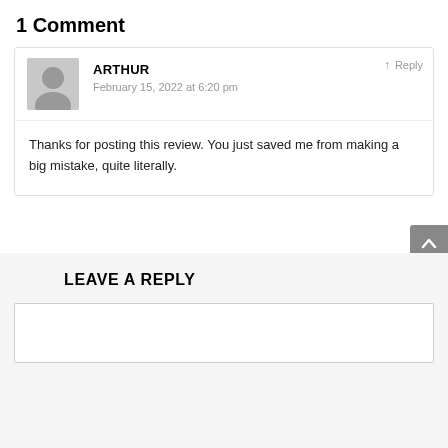1 Comment
ARTHUR
February 15, 2022 at 6:20 pm
Thanks for posting this review. You just saved me from making a big mistake, quite literally.
LEAVE A REPLY